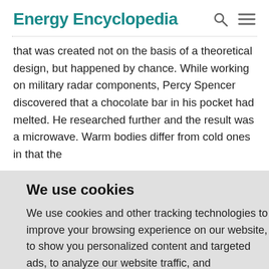Energy Encyclopedia
that was created not on the basis of a theoretical design, but happened by chance. While working on military radar components, Percy Spencer discovered that a chocolate bar in his pocket had melted. He researched further and the result was a microwave. Warm bodies differ from cold ones in that the
We use cookies
We use cookies and other tracking technologies to improve your browsing experience on our website, to show you personalized content and targeted ads, to analyze our website traffic, and